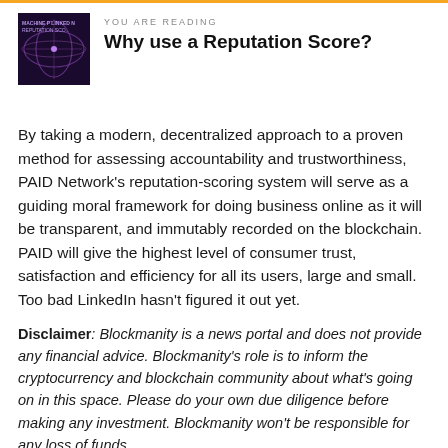YOU ARE READING
Why use a Reputation Score?
By taking a modern, decentralized approach to a proven method for assessing accountability and trustworthiness, PAID Network's reputation-scoring system will serve as a guiding moral framework for doing business online as it will be transparent, and immutably recorded on the blockchain. PAID will give the highest level of consumer trust, satisfaction and efficiency for all its users, large and small. Too bad LinkedIn hasn't figured it out yet.
Disclaimer: Blockmanity is a news portal and does not provide any financial advice. Blockmanity's role is to inform the cryptocurrency and blockchain community about what's going on in this space. Please do your own due diligence before making any investment. Blockmanity won't be responsible for any loss of funds.